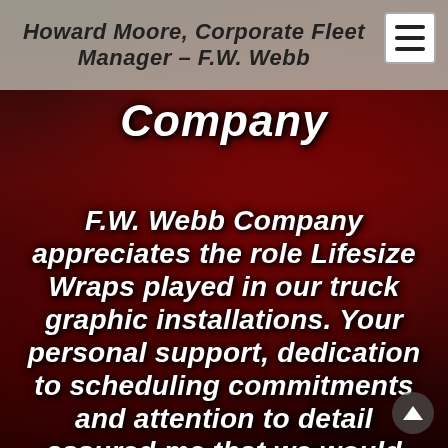Howard Moore, Corporate Fleet Manager – F.W. Webb Company
Company
F.W. Webb Company appreciates the role Lifesize Wraps played in our truck graphic installations. Your personal support, dedication to scheduling commitments and attention to detail assured me that we would have a successful roll out this